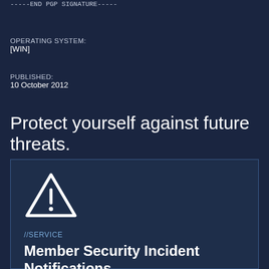-----END PGP SIGNATURE-----
OPERATING SYSTEM:
[WIN]
PUBLISHED:
10 October 2012
Protect yourself against future threats.
[Figure (illustration): Warning triangle icon with exclamation mark, white outline on dark blue background]
//SERVICE
Member Security Incident Notifications